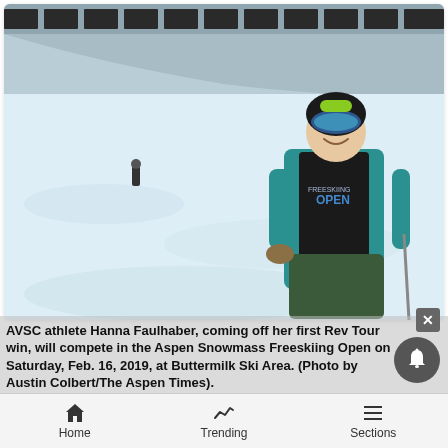[Figure (photo): AVSC athlete Hanna Faulhaber smiling and standing at Buttermilk Ski Area halfpipe, wearing a teal hoodie, black vest with 'OPEN' logo, blue/green helmet with goggles, holding ski poles. Snow-covered halfpipe in background with two small figures visible.]
AVSC athlete Hanna Faulhaber, coming off her first Rev Tour win, will compete in the Aspen Snowmass Freeskiing Open on Saturday, Feb. 16, 2019, at Buttermilk Ski Area. (Photo by Austin Colbert/The Aspen Times).
Austin Colbert/The Aspen Times
Home   Trending   Sections